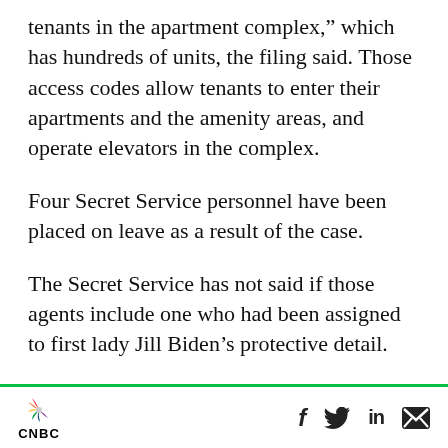tenants in the apartment complex,” which has hundreds of units, the filing said. Those access codes allow tenants to enter their apartments and the amenity areas, and operate elevators in the complex.
Four Secret Service personnel have been placed on leave as a result of the case.
The Secret Service has not said if those agents include one who had been assigned to first lady Jill Biden’s protective detail.
That agent was identified in a criminal complaint as being offered an AR-15-style assault rifle
CNBC [logo] f [Facebook] [Twitter] in [LinkedIn] [Email]